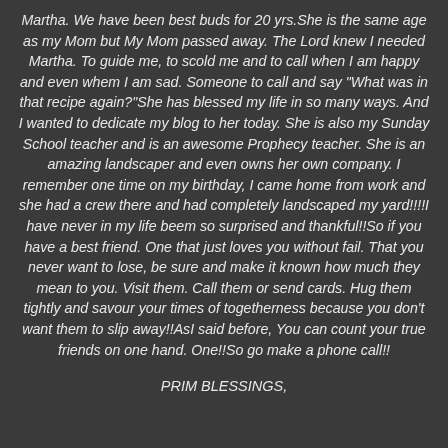Martha. We have been best buds for 20 yrs.She is the same age as my Mom but My Mom passed away. The Lord knew I needed Martha. To guide me, to scold me and to call when I am happy and even whem I am sad. Someone to call and say "What was in that recipe again?"She has blessed my life in so many ways. And I wanted to dedicate my blog to her today. She is also my Sunday School teacher and is an awesome Prophecy teacher. She is an amazing landscaper and even owns her own company. I remember one time on my birthday, I came home from work and she had a crew there and had completely landscaped my yard!!!!I have never in my life beem so surprised and thankful!!So if you have a best friend. One that just loves you without fail. That you never want to lose, be sure and make it known how much they mean to you. Visit them. Call them or send cards. Hug them tightly and savour your times of togetherness because you don't want them to slip away!!AsI said before, You can count your true friends on one hand. One!!So go make a phone call!!
PRIM BLESSINGS,